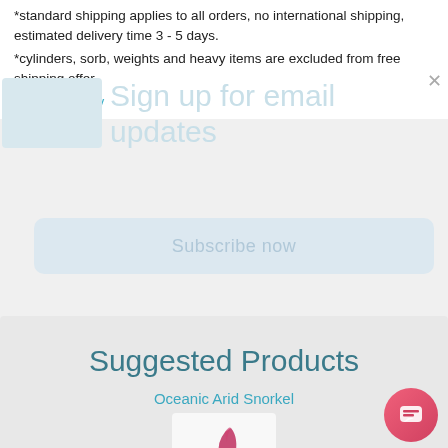*standard shipping applies to all orders, no international shipping, estimated delivery time 3 - 5 days.
*cylinders, sorb, weights and heavy items are excluded from free shipping offer
Returns Policy
[Figure (screenshot): Email signup overlay with text 'Sign up for email updates' and a Subscribe now button]
Suggested Products
Oceanic Arid Snorkel
[Figure (photo): Product thumbnail image of Oceanic Arid Snorkel]